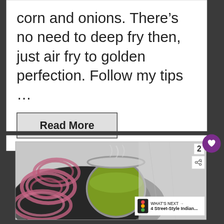corn and onions. There's no need to deep fry then, just air fry to golden perfection. Follow my tips …
Read More
[Figure (photo): Photo of sliced red onions and a metal cup with green chutney in a dark bowl, grayscale toned background]
2
WHAT'S NEXT → 4 Street-Style Indian...